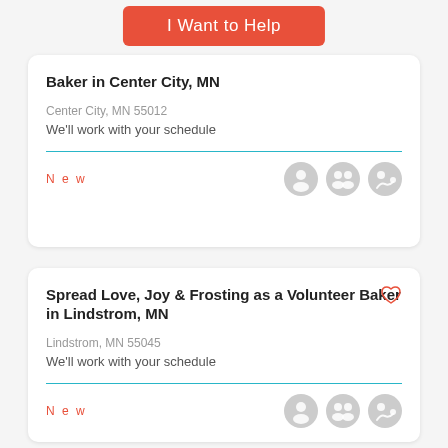I Want to Help
Baker in Center City, MN
Center City, MN 55012
We'll work with your schedule
New
Spread Love, Joy & Frosting as a Volunteer Baker in Lindstrom, MN
Lindstrom, MN 55045
We'll work with your schedule
New